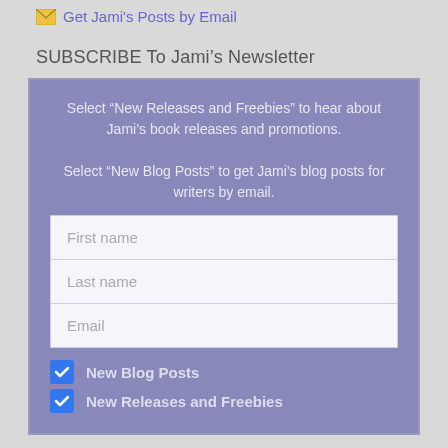Get Jami's Posts by Email
SUBSCRIBE To Jami's Newsletter
Select "New Releases and Freebies" to hear about Jami's book releases and promotions.

Select "New Blog Posts" to get Jami's blog posts for writers by email.
First name
Last name
Email
New Blog Posts
New Releases and Freebies